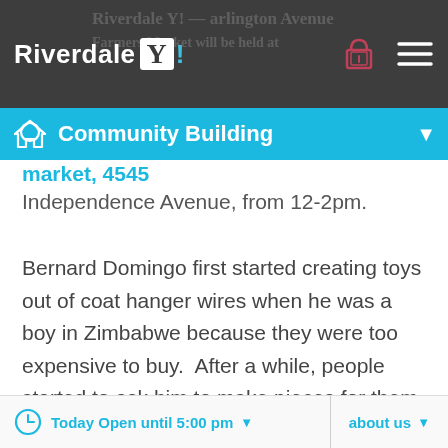Riverdale Y! — Community Building
market, 4545 Independence Avenue, from 12-2pm.
Bernard Domingo first started creating toys out of coat hanger wires when he was a boy in Zimbabwe because they were too expensive to buy.  After a while, people started to ask him to make pieces for them, and he realized that he had a talent that he could focus on and turn into a business.  A few years later, he had the opportunity to go to Europe.  He sold
Today Open until 5:00 pm    about us